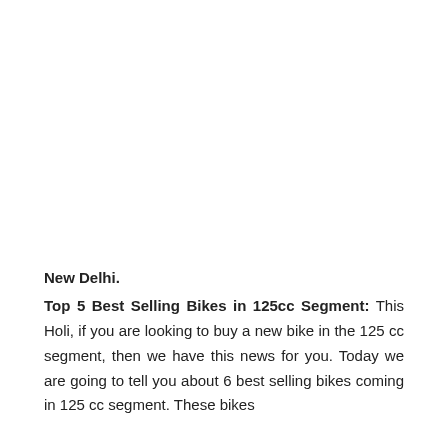New Delhi.
Top 5 Best Selling Bikes in 125cc Segment: This Holi, if you are looking to buy a new bike in the 125 cc segment, then we have this news for you. Today we are going to tell you about 6 best selling bikes coming in 125 cc segment. These bikes